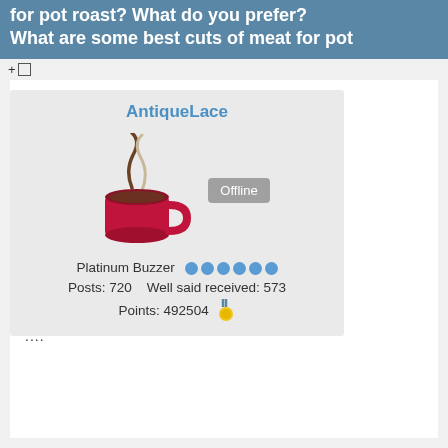for pot roast? What do you prefer? What are some best cuts of meat for pot
[Figure (screenshot): User profile card for AntiqueLace showing a coffee cup avatar, Offline status badge, Platinum Buzzer rank with 6 blue dots, Posts: 720, Well said received: 573, Points: 492504 with medal emoji]
....